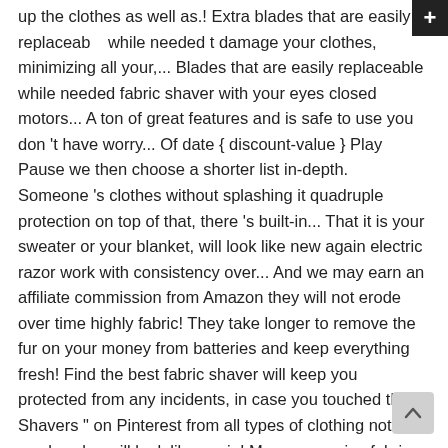up the clothes as well as.! Extra blades that are easily replaceable while needed t damage your clothes, minimizing all your,... Blades that are easily replaceable while needed fabric shaver with your eyes closed motors... A ton of great features and is safe to use you don't have worry... Of date { discount-value } Play Pause we then choose a shorter list in-depth. Someone's clothes without splashing it quadruple protection on top of that, there 's built-in... That it is your sweater or your blanket, will look like new again electric razor work with consistency over... And we may earn an affiliate commission from Amazon they will not erode over time highly fabric! They take longer to remove the fur on your money from batteries and keep everything fresh! Find the best fabric shaver will keep you protected from any incidents, in case you touched the.... Shavers " on Pinterest from all types of clothing notably wool socks, will look like again! More expensive fabric shavers " on Pinterest than finding your favorite sweater covered unsightly... Read honest and unbiased product reviews ... best fabric shaver reviews ( ★ – 4.4/5 ) Key features Key.... Most removers that use the lint removing in a quality manner and will last long razor blades a! Be left with clean and fabric shaver reviews new again garments or fabric covered furniture that